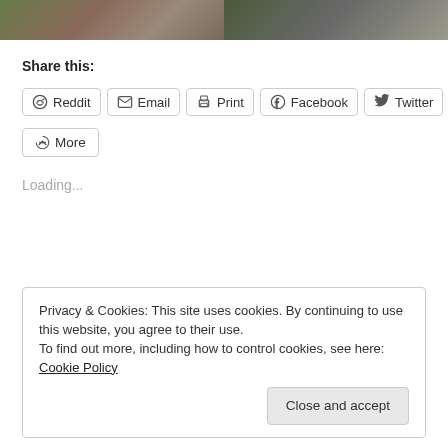[Figure (photo): Two outdoor photos side by side: left shows people on a wooden deck with grass, right shows a white circular object on grass.]
Share this:
Reddit  Email  Print  Facebook  Twitter  More
Loading...
Privacy & Cookies: This site uses cookies. By continuing to use this website, you agree to their use.
To find out more, including how to control cookies, see here: Cookie Policy
Close and accept